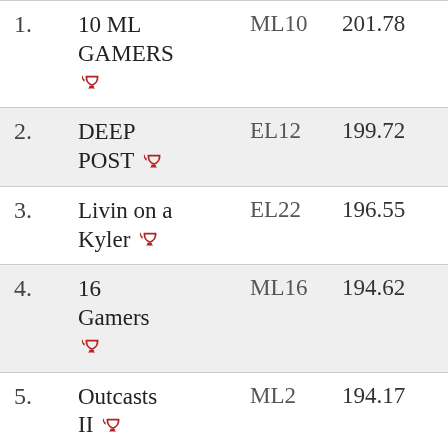| Rank | Team Name | League | Score | Owner |
| --- | --- | --- | --- | --- |
| 1. | 10 ML GAMERS 🏆 | ML10 | 201.78 | Greg Siebern |
| 2. | DEEP POST 🏆 | EL12 | 199.72 | Mike Krup Tom Goug |
| 3. | Livin on a Kyler 🏆 | EL22 | 196.55 | Mike Hoffmaste |
| 4. | 16 Gamers 🏆 | ML16 | 194.62 | Greg Siebern |
| 5. | Outcasts II 🏆 | ML2 | 194.17 | Ryan Servaty |